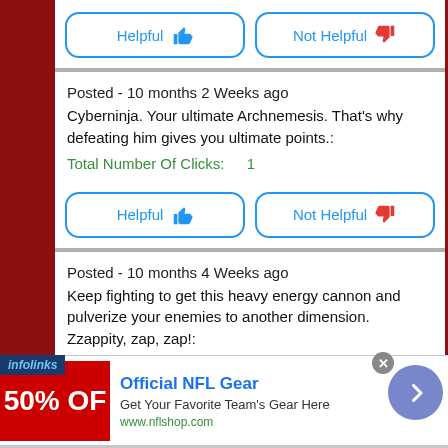[Figure (screenshot): Helpful and Not Helpful buttons (blue outlined rounded rectangle buttons with thumbs up/down icons)]
Posted - 10 months 2 Weeks ago
Cyberninja. Your ultimate Archnemesis. That's why defeating him gives you ultimate points.:
Total Number Of Clicks:   1
[Figure (screenshot): Helpful and Not Helpful buttons (blue outlined rounded rectangle buttons with thumbs up/down icons)]
Posted - 10 months 4 Weeks ago
Keep fighting to get this heavy energy cannon and pulverize your enemies to another dimension. Zzappity, zap, zap!:
Total Number Of Clicks:   0
[Figure (screenshot): infolinks ad banner: Official NFL Gear - Get Your Favorite Team's Gear Here - www.nflshop.com - 50% OFF red image, blue arrow button]